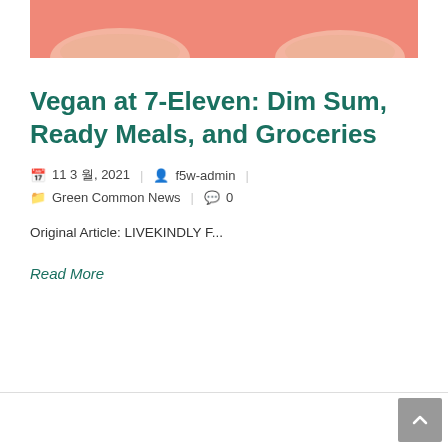[Figure (photo): Photo of food bowls on a salmon/coral pink background, partially visible at top of page]
Vegan at 7-Eleven: Dim Sum, Ready Meals, and Groceries
11 3 월, 2021  |  f5w-admin  |  Green Common News  |  0
Original Article: LIVEKINDLY F...
Read More